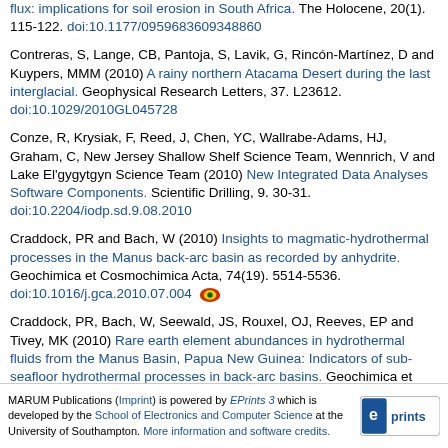flux: implications for soil erosion in South Africa. The Holocene, 20(1). 115-122. doi:10.1177/0959683609348860
Contreras, S, Lange, CB, Pantoja, S, Lavik, G, Rincón-Martínez, D and Kuypers, MMM (2010) A rainy northern Atacama Desert during the last interglacial. Geophysical Research Letters, 37. L23612. doi:10.1029/2010GL045728
Conze, R, Krysiak, F, Reed, J, Chen, YC, Wallrabe-Adams, HJ, Graham, C, New Jersey Shallow Shelf Science Team, Wennrich, V and Lake El'gygytgyn Science Team (2010) New Integrated Data Analyses Software Components. Scientific Drilling, 9. 30-31. doi:10.2204/iodp.sd.9.08.2010
Craddock, PR and Bach, W (2010) Insights to magmatic-hydrothermal processes in the Manus back-arc basin as recorded by anhydrite. Geochimica et Cosmochimica Acta, 74(19). 5514-5536. doi:10.1016/j.gca.2010.07.004
Craddock, PR, Bach, W, Seewald, JS, Rouxel, OJ, Reeves, EP and Tivey, MK (2010) Rare earth element abundances in hydrothermal fluids from the Manus Basin, Papua New Guinea: Indicators of sub-seafloor hydrothermal processes in back-arc basins. Geochimica et Cosmochimica Acta, 74(19). 5494-5513. doi:10.1016/j.gca.2010.07.003
D'Andrilli, J, Dittmar, T, Koch, BP, Purcell, JM, Marshall, AG and Cooper, WT (2010) Comprehensive characterization of marine
MARUM Publications (Imprint) is powered by EPrints 3 which is developed by the School of Electronics and Computer Science at the University of Southampton. More information and software credits.